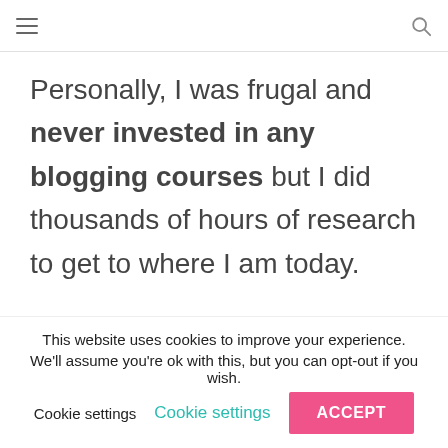☰  [hamburger menu] ... [search icon]
Personally, I was frugal and never invested in any blogging courses but I did thousands of hours of research to get to where I am today.
This website uses cookies to improve your experience. We'll assume you're ok with this, but you can opt-out if you wish. Cookie settings  ACCEPT